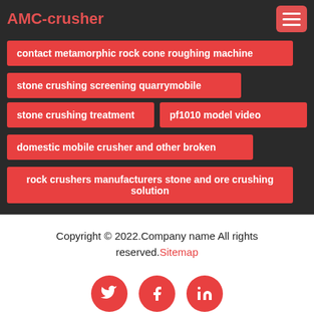AMC-crusher
contact metamorphic rock cone roughing machine
stone crushing screening quarrymobile
stone crushing treatment
pf1010 model video
domestic mobile crusher and other broken
rock crushers manufacturers stone and ore crushing solution
Copyright © 2022.Company name All rights reserved. Sitemap